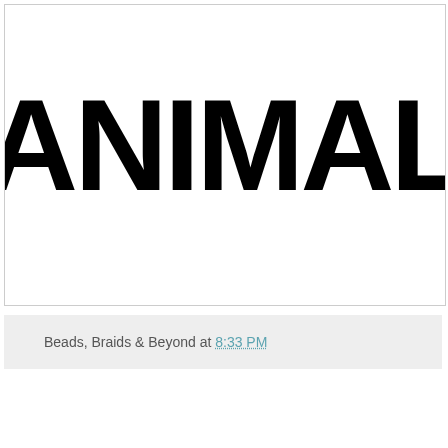[Figure (logo): Large bold black text reading ANIMAL on white background]
Beads, Braids & Beyond at 8:33 PM